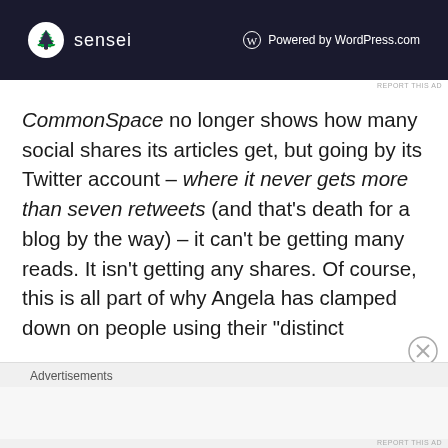[Figure (screenshot): Sensei and WordPress.com advertisement banner with dark navy background. Sensei logo (tree icon) on left, WordPress.com 'Powered by WordPress.com' on right.]
REPORT THIS AD
CommonSpace no longer shows how many social shares its articles get, but going by its Twitter account – where it never gets more than seven retweets (and that's death for a blog by the way) – it can't be getting many reads. It isn't getting any shares. Of course, this is all part of why Angela has clamped down on people using their "distinct
Advertisements
REPORT THIS AD